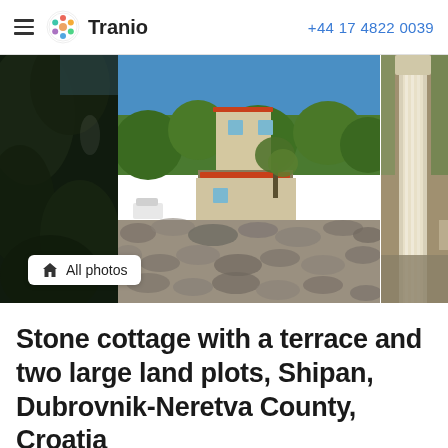Tranio   +44 17 4822 0039
[Figure (photo): Three-panel photo strip: left panel shows dark tree foliage, center panel shows a stone cottage with terrace and red roof surrounded by Mediterranean vegetation and a stone boundary wall, right panel shows stone columns in close-up. An 'All photos' button overlay is visible at the bottom left.]
Stone cottage with a terrace and two large land plots, Shipan, Dubrovnik-Neretva County, Croatia